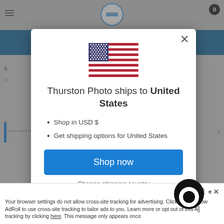[Figure (screenshot): Website background showing navigation bar, blue header bar, and grayed-out content underneath the modal overlay]
[Figure (illustration): United States flag SVG illustration centered at top of modal dialog]
Thurston Photo ships to United States
Shop in USD $
Get shipping options for United States
Shop now
Change shipping country
Accept × Your browser settings do not allow cross-site tracking for advertising. Click on them to allow AdRoll to use cross-site tracking to tailor ads to you. Learn more or opt out of this AdRoll tracking by clicking here. This message only appears once.